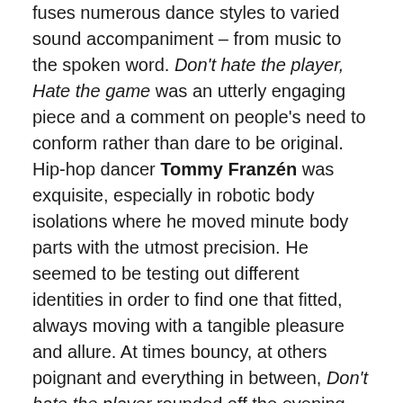fuses numerous dance styles to varied sound accompaniment – from music to the spoken word. Don't hate the player, Hate the game was an utterly engaging piece and a comment on people's need to conform rather than dare to be original. Hip-hop dancer Tommy Franzén was exquisite, especially in robotic body isolations where he moved minute body parts with the utmost precision. He seemed to be testing out different identities in order to find one that fitted, always moving with a tangible pleasure and allure. At times bouncy, at others poignant and everything in between, Don't hate the player rounded off the evening with a punch."
" Sunday evening concluded with a second showing of Kristen McNally's Don't hate the player, Hate the game. Again performed exceptionally by Tommy Franzén, this rounded off Cloud Dance Festival's weekend of